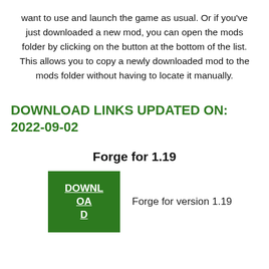want to use and launch the game as usual. Or if you've just downloaded a new mod, you can open the mods folder by clicking on the button at the bottom of the list. This allows you to copy a newly downloaded mod to the mods folder without having to locate it manually.
DOWNLOAD LINKS UPDATED ON: 2022-09-02
Forge for 1.19
DOWNLOAD
Forge for version 1.19